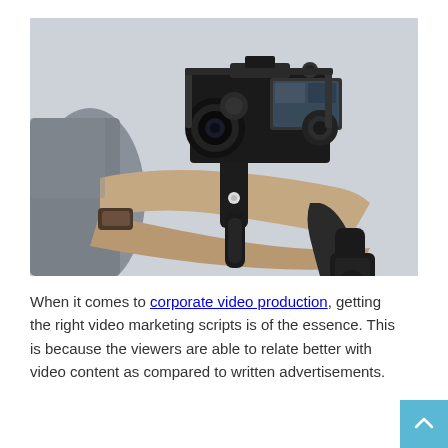[Figure (photo): A person holding a professional camera on a gimbal stabilizer rig, photographed from the side. The camera has a monitor/screen and is mounted on a handheld 3-axis gimbal. The background is light grey/outdoor setting.]
When it comes to corporate video production, getting the right video marketing scripts is of the essence. This is because the viewers are able to relate better with video content as compared to written advertisements.